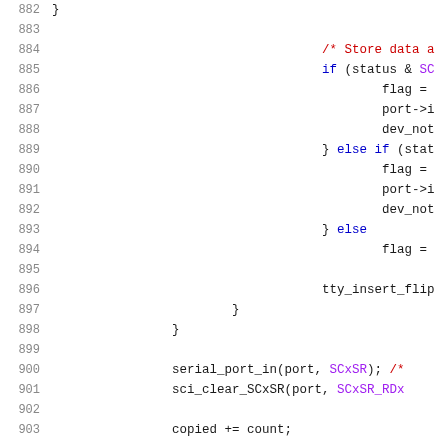Code listing lines 882-903, C source code with syntax highlighting showing serial port interrupt handling logic
882: }
883: (blank)
884: /* Store data a
885: if (status & SC
886: flag =
887: port->i
888: dev_not
889: } else if (stat
890: flag =
891: port->i
892: dev_not
893: } else
894: flag =
895: (blank)
896: tty_insert_flip
897: }
898: }
899: (blank)
900: serial_port_in(port, SCxSR); /*
901: sci_clear_SCxSR(port, SCxSR_RDx
902: (blank)
903: copied += count;